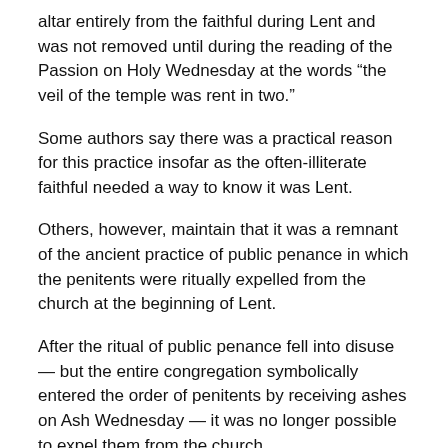altar entirely from the faithful during Lent and was not removed until during the reading of the Passion on Holy Wednesday at the words “the veil of the temple was rent in two.”
Some authors say there was a practical reason for this practice insofar as the often-illiterate faithful needed a way to know it was Lent.
Others, however, maintain that it was a remnant of the ancient practice of public penance in which the penitents were ritually expelled from the church at the beginning of Lent.
After the ritual of public penance fell into disuse — but the entire congregation symbolically entered the order of penitents by receiving ashes on Ash Wednesday — it was no longer possible to expel them from the church.